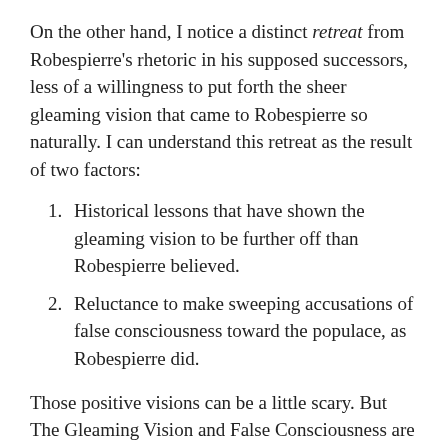On the other hand, I notice a distinct retreat from Robespierre's rhetoric in his supposed successors, less of a willingness to put forth the sheer gleaming vision that came to Robespierre so naturally. I can understand this retreat as the result of two factors:
Historical lessons that have shown the gleaming vision to be further off than Robespierre believed.
Reluctance to make sweeping accusations of false consciousness toward the populace, as Robespierre did.
Those positive visions can be a little scary. But The Gleaming Vision and False Consciousness are two of the most crucial tools in the Revolutionary's toolbox. I think that the tepid nature of much current Leftist writing (when it isn't just disappearing entirely into theory)